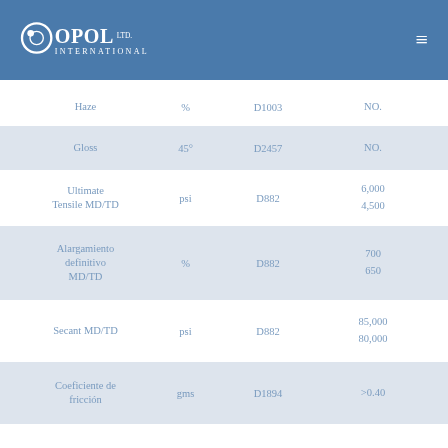[Figure (logo): Copol International Ltd. logo in white on blue header bar]
| Property | Unit | Standard | Value |
| --- | --- | --- | --- |
| Haze | % | D1003 | NO. |
| Gloss | 45° | D2457 | NO. |
| Ultimate Tensile MD/TD | psi | D882 | 6,000
4,500 |
| Alargamiento definitivo MD/TD | % | D882 | 700
650 |
| Secant MD/TD | psi | D882 | 85,000
80,000 |
| Coeficiente de fricción | gms | D1894 | >0.40 |